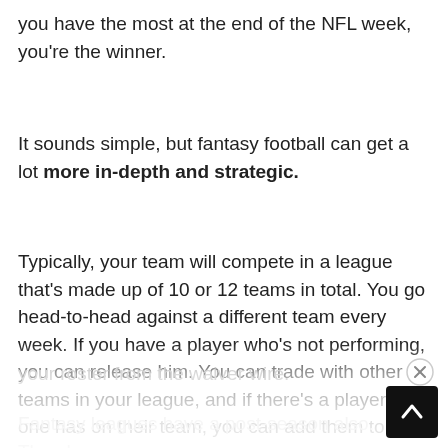you have the most at the end of the NFL week, you're the winner.
It sounds simple, but fantasy football can get a lot more in-depth and strategic.
Typically, your team will compete in a league that's made up of 10 or 12 teams in total. You go head-to-head against a different team every week. If you have a player who's not performing, you can release him. You can trade with other teams in your league, and if there's a player no one has on their team, you can add them to your roster from the waiver wire.
Fantasy leagues have a post-season also. The playo